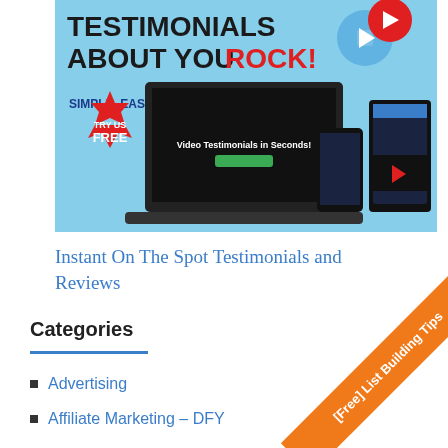[Figure (illustration): Promotional banner for a video testimonials service showing a laptop, mobile phone, tablet, video camera icons, a red starburst with 'TRY US FREE', headline 'TESTIMONIALS ABOUT YOU ROCK!', and 'SIMPLE, EASY' text on a light blue background.]
Instant On The Spot Testimonials and Reviews
Categories
Advertising
Affiliate Marketing – DFY